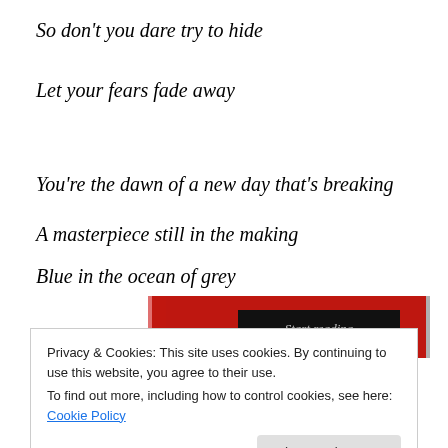So don't you dare try to hide
Let your fears fade away
You're the dawn of a new day that's breaking
A masterpiece still in the making
Blue in the ocean of grey
[Figure (other): Red banner with a dark 'Start reading' button in the center, with red side panels and a grey right border]
Privacy & Cookies: This site uses cookies. By continuing to use this website, you agree to their use.
To find out more, including how to control cookies, see here: Cookie Policy
Close and accept